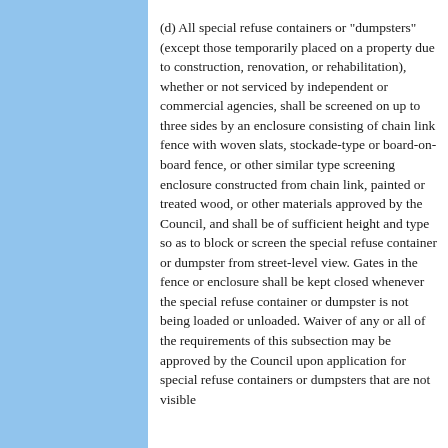(d) All special refuse containers or "dumpsters" (except those temporarily placed on a property due to construction, renovation, or rehabilitation), whether or not serviced by independent or commercial agencies, shall be screened on up to three sides by an enclosure consisting of chain link fence with woven slats, stockade-type or board-on-board fence, or other similar type screening enclosure constructed from chain link, painted or treated wood, or other materials approved by the Council, and shall be of sufficient height and type so as to block or screen the special refuse container or dumpster from street-level view. Gates in the fence or enclosure shall be kept closed whenever the special refuse container or dumpster is not being loaded or unloaded. Waiver of any or all of the requirements of this subsection may be approved by the Council upon application for special refuse containers or dumpsters that are not visible